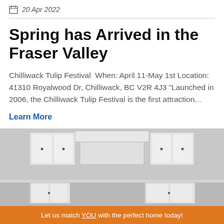20 Apr 2022
Spring has Arrived in the Fraser Valley
Chilliwack Tulip Festival  When: April 11-May 1st Location: 41310 Royalwood Dr, Chilliwack, BC V2R 4J3 "Launched in 2006, the Chilliwack Tulip Festival is the first attraction...
Learn More
[Figure (photo): Interior kitchen photo showing white cabinets with dark hardware against a light grey background]
Let us match YOU with the perfect home today!